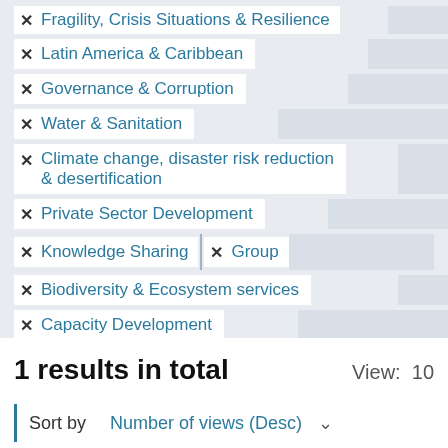✕ Fragility, Crisis Situations & Resilience
✕ Latin America & Caribbean
✕ Governance & Corruption
✕ Water & Sanitation
✕ Climate change, disaster risk reduction & desertification
✕ Private Sector Development
✕ Knowledge Sharing
✕ Group
✕ Biodiversity & Ecosystem services
✕ Capacity Development
1 results in total
View: 10
Sort by    Number of views (Desc)